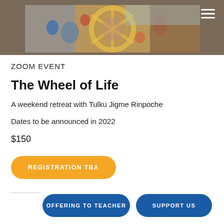[Figure (illustration): Colorful Buddhist Wheel of Life (Bhavachakra) thangka painting showing detailed scenes with figures in various realms, gold circular border, depicted as a cropped banner image]
ZOOM EVENT
The Wheel of Life
A weekend retreat with Tulku Jigme Rinpoche
Dates to be announced in 2022
$150
REGISTRATION TBA
OFFERING TO TEACHER
SUPPORT US